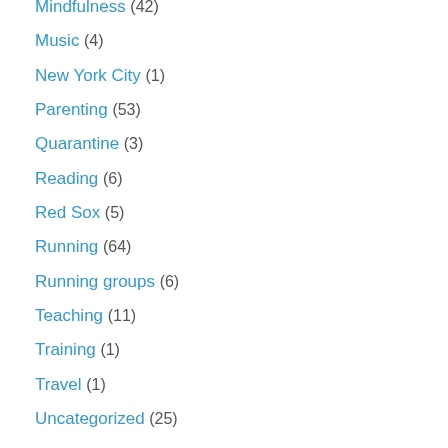Mindfulness (42)
Music (4)
New York City (1)
Parenting (53)
Quarantine (3)
Reading (6)
Red Sox (5)
Running (64)
Running groups (6)
Teaching (11)
Training (1)
Travel (1)
Uncategorized (25)